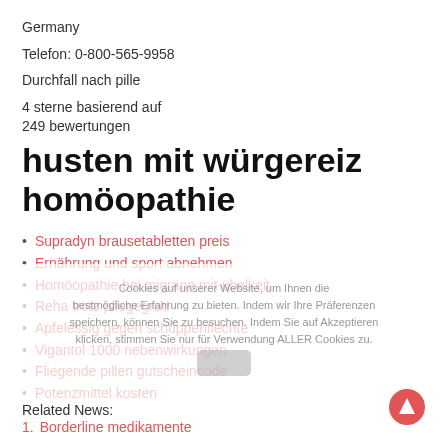Germany
Telefon: 0-800-565-9958
Durchfall nach pille
4 sterne basierend auf
249 bewertungen
husten mit würgereiz homöopathie
Supradyn brausetabletten preis
Ernährung und sport abnehmen
Homöopathie bei migräne mit übelkeit
Reha trotz pflegegrad
Apfelessig gegen schuppenflechte
Vigantol 1000 nebenwirkungen
Fliegende pillen gutscheincode
Potenzmittel kosten
Related News:
Borderline medikamente